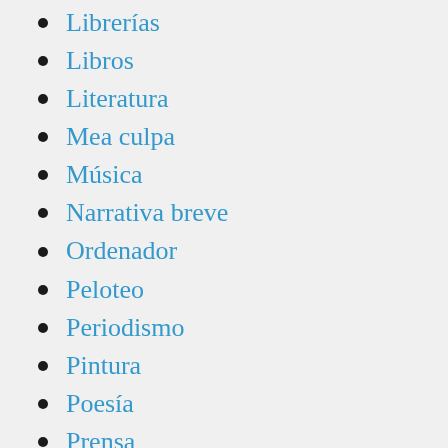Librerías
Libros
Literatura
Mea culpa
Música
Narrativa breve
Ordenador
Peloteo
Periodismo
Pintura
Poesía
Prensa
Reflexiones varias
Religión
Teatro
Televisión
Urbanidad